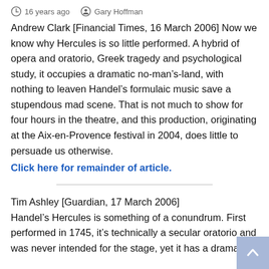16 years ago   Gary Hoffman
Andrew Clark [Financial Times, 16 March 2006] Now we know why Hercules is so little performed. A hybrid of opera and oratorio, Greek tragedy and psychological study, it occupies a dramatic no-man’s-land, with nothing to leaven Handel’s formulaic music save a stupendous mad scene. That is not much to show for four hours in the theatre, and this production, originating at the Aix-en-Provence festival in 2004, does little to persuade us otherwise.
Click here for remainder of article.
Tim Ashley [Guardian, 17 March 2006] Handel’s Hercules is something of a conundrum. First performed in 1745, it’s technically a secular oratorio and was never intended for the stage, yet it has a dramatic